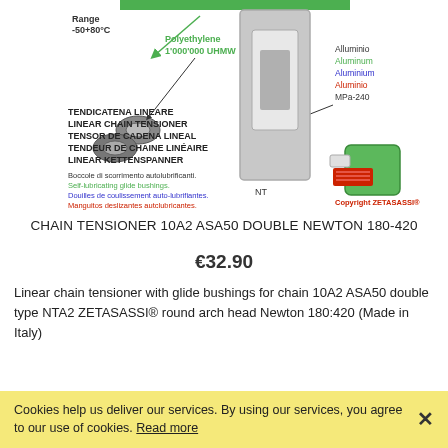[Figure (illustration): Product illustration of a linear chain tensioner showing aluminum body labeled 'NT', green components, self-lubricating glide bushings (shown as small rings), with multilingual labels: Range -50+80°C, Polyethylene 1'000'000 UHMW, Alluminio/Aluminum/Aluminium/Aluminio MPa-240, Boccole di scorrimento autolubrificanti / Self-lubricating glide bushings / Douilles de coulissement auto-lubrifiantes / Manguitos deslizantes autclubricantes. Central bold text: TENDICATENA LINEARE / LINEAR CHAIN TENSIONER / TENSOR DE CADENA LINEAL / TENDEUR DE CHAINE LINÉAIRE / LINEAR KETTENSPANNER. Copyright ZETASASSI®]
CHAIN TENSIONER 10A2 ASA50 DOUBLE NEWTON 180-420
€32.90
Linear chain tensioner with glide bushings for chain 10A2 ASA50 double type NTA2 ZETASASSI® round arch head Newton 180:420 (Made in Italy)
Cookies help us deliver our services. By using our services, you agree to our use of cookies. Read more